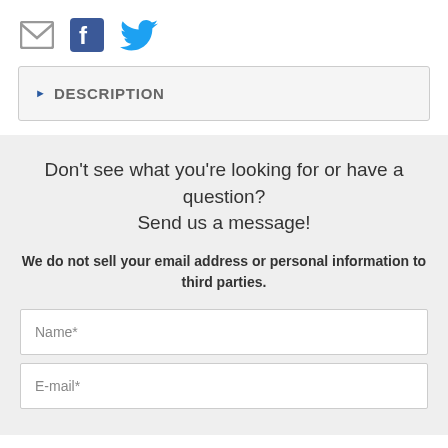[Figure (illustration): Social sharing icons: email envelope (grey), Facebook logo (blue), Twitter bird (blue)]
DESCRIPTION
Don't see what you're looking for or have a question? Send us a message!
We do not sell your email address or personal information to third parties.
Name*
E-mail*